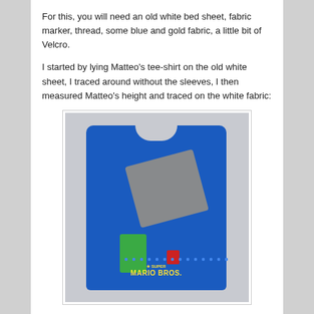For this, you will need an old white bed sheet, fabric marker, thread, some blue and gold fabric, a little bit of Velcro.
I started by lying Matteo's tee-shirt on the old white sheet, I traced around without the sleeves, I then measured Matteo's height and traced on the white fabric:
[Figure (photo): A blue Super Mario Bros. children's sleeveless shirt laid flat on a white/gray bed sheet, with gray fabric pieces folded on top and a green fabric piece and red piece visible, along with dotted markings on the shirt.]